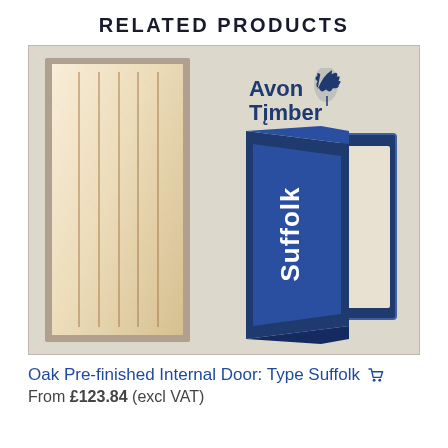RELATED PRODUCTS
[Figure (photo): Product image of Oak Pre-finished Internal Door Type Suffolk, showing a vertical-plank style door on the left with the Avon Timber logo and a Suffolk door icon on the right, against a beige/light grey background]
Oak Pre-finished Internal Door: Type Suffolk
From £123.84 (excl VAT)